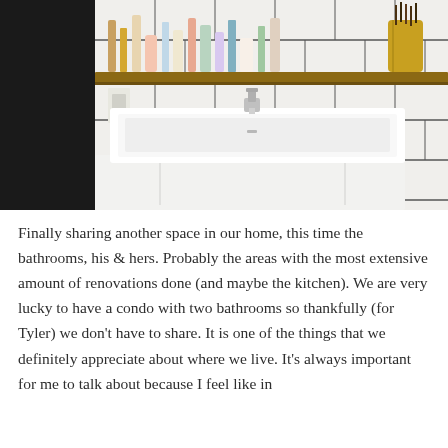[Figure (photo): Bathroom sink photo: a modern white rectangular vessel sink mounted on a white cabinet, with white subway tiles behind it featuring dark grout, a wood shelf above holding various skincare and beauty products, and a chrome faucet. The left wall is painted black.]
Finally sharing another space in our home, this time the bathrooms, his & hers. Probably the areas with the most extensive amount of renovations done (and maybe the kitchen). We are very lucky to have a condo with two bathrooms so thankfully (for Tyler) we don't have to share. It is one of the things that we definitely appreciate about where we live. It's always important for me to talk about because I feel like in